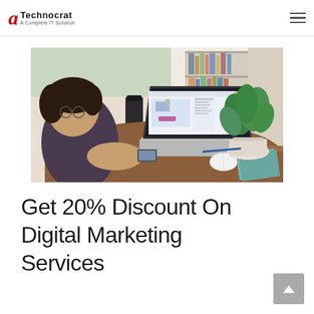aTechnocrat - A Complete IT Solution
[Figure (photo): A person sitting at a round wooden table working on a laptop that displays a design/social media application. A white plant pot with a green plant is in the background on the right, a teal notebook is on the right side of the table, and a smartphone is next to the laptop.]
Get 20% Discount On Digital Marketing Services